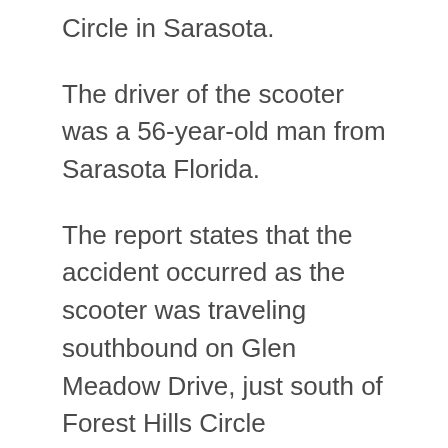Circle in Sarasota.
The driver of the scooter was a 56-year-old man from Sarasota Florida.
The report states that the accident occurred as the scooter was traveling southbound on Glen Meadow Drive, just south of Forest Hills Circle approaching a left curve in the road.
At 6:48:00 AM, for reasons unknown, the driver apparently lost control of his vehicle and failed to negotiate the